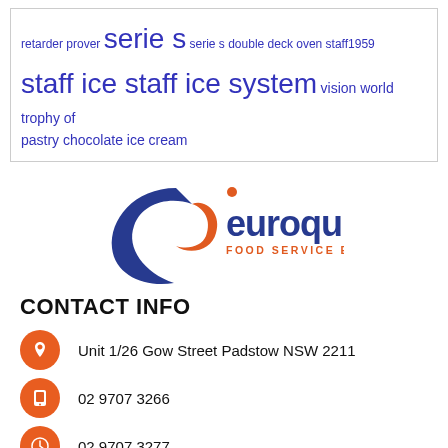retarder prover serie s serie s double deck oven staff1959 staff ice staff ice system vision world trophy of pastry chocolate ice cream
[Figure (logo): Euroquip Food Service Equipment logo — blue crescent/swoosh shape with orange accent and text 'euroquip FOOD SERVICE EQUIPMENT']
CONTACT INFO
Unit 1/26 Gow Street Padstow NSW 2211
02 9707 3266
02 9707 3277